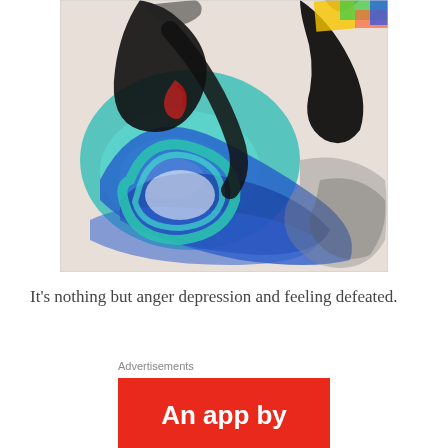[Figure (illustration): Abstract painting with swirling brushstrokes in blue, teal, black, red, and white. Bold black curved lines over vivid blue and turquoise circular forms on a light background.]
It's nothing but anger depression and feeling defeated.
Advertisements
An app by